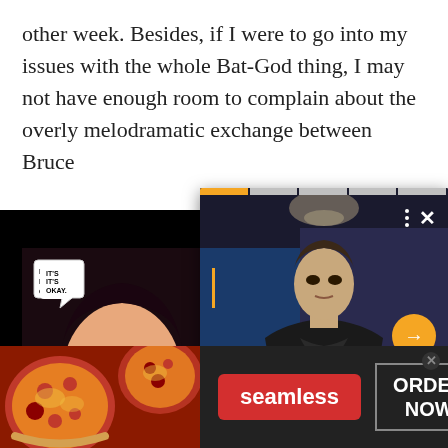other week. Besides, if I were to go into my issues with the whole Bat-God thing, I may not have enough room to complain about the overly melodramatic exchange between Bruce
[Figure (screenshot): Comic panel showing a female character looking up with a speech bubble reading 'IT'S IT'S OKAY.']
[Figure (screenshot): Video overlay showing a young man in a black leather jacket with a Superman shirt, with orange progress bar at top, dots and X close button, and orange arrow button.]
[Figure (photo): Seamless food delivery advertisement showing pizza slices, Seamless logo in red button, and ORDER NOW button.]